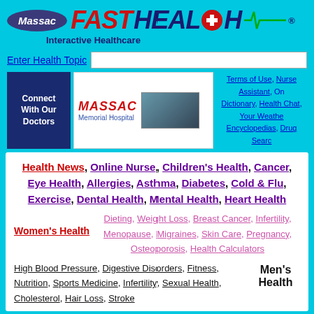[Figure (logo): Massac Fast Health Interactive Healthcare logo with oval Massac badge, red italic FAST HEALTH text with cross symbol, and ECG line]
Enter Health Topic
[Figure (screenshot): Massac Memorial Hospital banner with Connect With Our Doctors text, hospital logo, and navigation links: Terms of Use, Nurse Assistant, Online Dictionary, Health Chat, Your Weather, Encyclopedias, Drug Search]
Health News, Online Nurse, Children's Health, Cancer, Eye Health, Allergies, Asthma, Diabetes, Cold & Flu, Exercise, Dental Health, Mental Health, Heart Health
Women's Health — Dieting, Weight Loss, Breast Cancer, Infertility, Menopause, Migraines, Skin Care, Pregnancy, Osteoporosis, Health Calculators
Men's Health — High Blood Pressure, Digestive Disorders, Fitness, Nutrition, Sports Medicine, Infertility, Sexual Health, Cholesterol, Hair Loss, Stroke
Dr. James R. Andrews — Sports Medicine Links